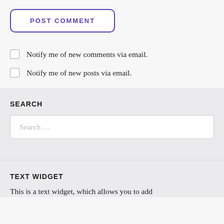POST COMMENT
Notify me of new comments via email.
Notify me of new posts via email.
SEARCH
Search …
TEXT WIDGET
This is a text widget, which allows you to add